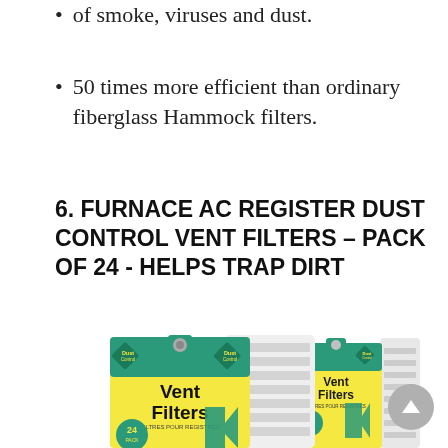of smoke, viruses and dust.
50 times more efficient than ordinary fiberglass Hammock filters.
6. FURNACE AC REGISTER DUST CONTROL VENT FILTERS – PACK OF 24 - HELPS TRAP DIRT
[Figure (photo): Product photo of Dust Control Vent Filters pack of 24, showing a white register vent with a yellow and green branded package]